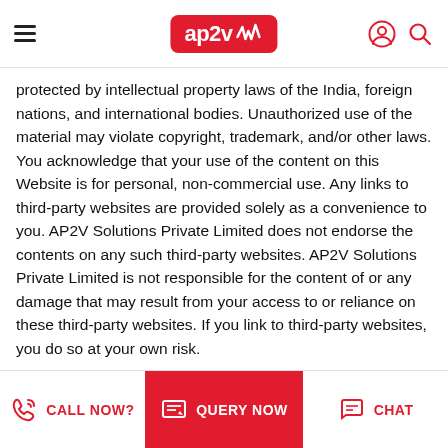ap2v [logo with menu, user, search icons]
protected by intellectual property laws of the India, foreign nations, and international bodies. Unauthorized use of the material may violate copyright, trademark, and/or other laws. You acknowledge that your use of the content on this Website is for personal, non-commercial use. Any links to third-party websites are provided solely as a convenience to you. AP2V Solutions Private Limited does not endorse the contents on any such third-party websites. AP2V Solutions Private Limited is not responsible for the content of or any damage that may result from your access to or reliance on these third-party websites. If you link to third-party websites, you do so at your own risk.
3.2 Use of Website; AP2V Solutions Private Limited is not responsible for any damages resulting from use of this website by anyone. You will not use the Website for illegal purposes. You will (1) abide by all applicable local, state, national, and international laws and regulations in your use of the Website
CALL NOW?   QUERY NOW   CHAT